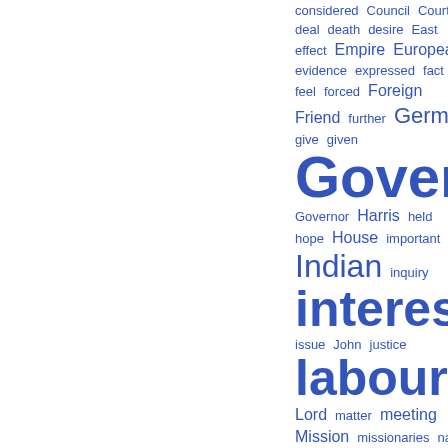[Figure (other): Word cloud with terms related to government, colonial administration, and related topics. Words displayed in various sizes in blue color, with larger words indicating higher frequency: Government, interests, labour, land, Office are the largest.]